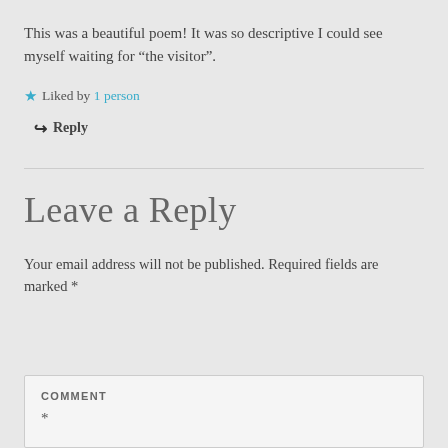This was a beautiful poem! It was so descriptive I could see myself waiting for “the visitor”.
★ Liked by 1 person
↪ Reply
Leave a Reply
Your email address will not be published. Required fields are marked *
COMMENT *